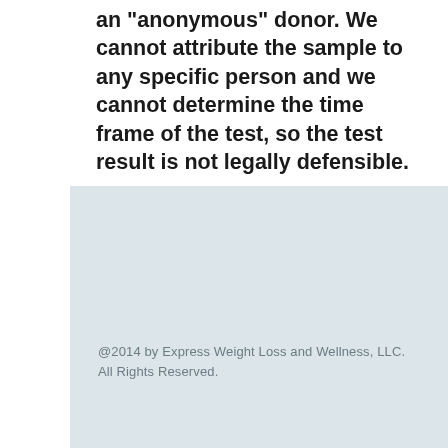an "anonymous" donor. We cannot attribute the sample to any specific person and we cannot determine the time frame of the test, so the test result is not legally defensible.
@2014 by Express Weight Loss and Wellness, LLC. All Rights Reserved.
Terms and Conditions